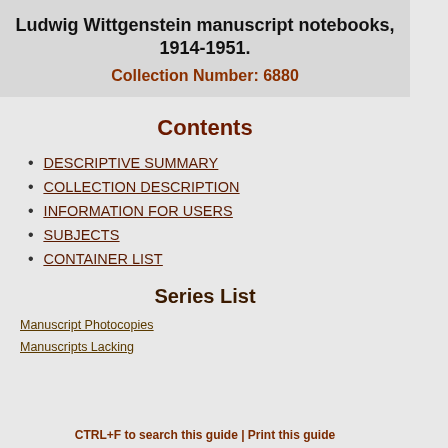Ludwig Wittgenstein manuscript notebooks, 1914-1951.
Collection Number: 6880
Contents
DESCRIPTIVE SUMMARY
COLLECTION DESCRIPTION
INFORMATION FOR USERS
SUBJECTS
CONTAINER LIST
Series List
Manuscript Photocopies
Manuscripts Lacking
CTRL+F to search this guide | Print this guide